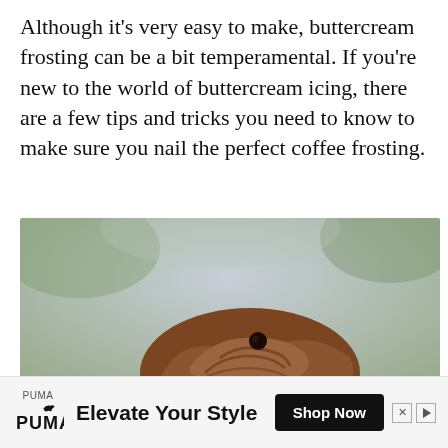Although it’s very easy to make, buttercream frosting can be a bit temperamental. If you’re new to the world of buttercream icing, there are a few tips and tricks you need to know to make sure you nail the perfect coffee frosting.
[Figure (photo): Close-up photo of a chocolate cupcake with swirled chocolate buttercream frosting topped with a dark berry, and chopped nuts visible beside it, against a blurred green/grey outdoor background.]
PUMA Elevate Your Style Shop Now